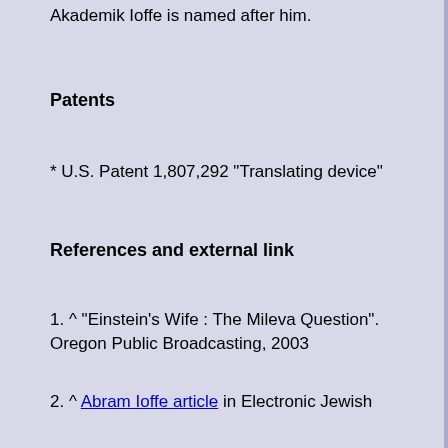Akademik Ioffe is named after him.
Patents
* U.S. Patent 1,807,292 "Translating device"
References and external link
1. ^ "Einstein's Wife : The Mileva Question". Oregon Public Broadcasting, 2003
2. ^ Abram Ioffe article in Electronic Jewish Encyclopedia (Russian)
* Annotated bibliography for Abram Ioffe from the Alsos Digital Library for Nuclear